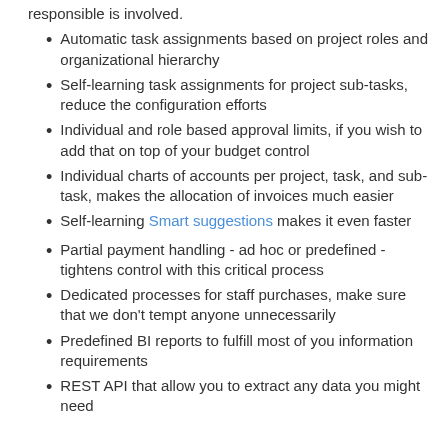responsible is involved.
Automatic task assignments based on project roles and organizational hierarchy
Self-learning task assignments for project sub-tasks, reduce the configuration efforts
Individual and role based approval limits, if you wish to add that on top of your budget control
Individual charts of accounts per project, task, and sub-task, makes the allocation of invoices much easier
Self-learning Smart suggestions makes it even faster
Partial payment handling - ad hoc or predefined - tightens control with this critical process
Dedicated processes for staff purchases, make sure that we don't tempt anyone unnecessarily
Predefined BI reports to fulfill most of you information requirements
REST API that allow you to extract any data you might need